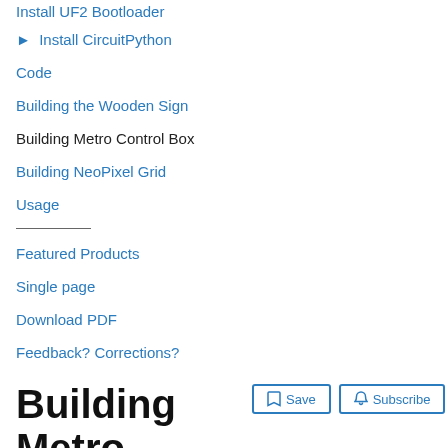Install UF2 Bootloader
▶ Install CircuitPython
Code
Building the Wooden Sign
Building Metro Control Box
Building NeoPixel Grid
Usage
Featured Products
Single page
Download PDF
Feedback? Corrections?
Building Metro